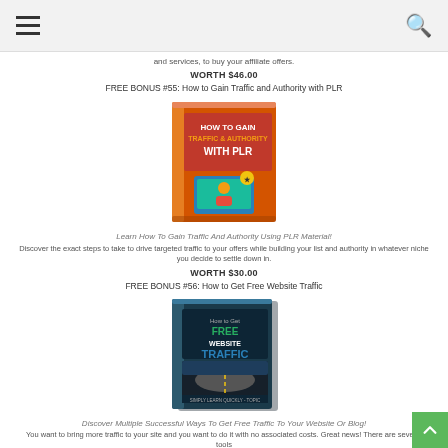navigation header with hamburger menu and search icon
and services, to buy your affiliate offers.
WORTH $46.00
FREE BONUS #55: How to Gain Traffic and Authority with PLR
[Figure (photo): Book cover: HOW TO GAIN TRAFFIC & AUTHORITY WITH PLR - orange cover with laptop graphic]
Learn How To Gain Traffic And Authority Using PLR Material!
Discover the exact steps to take to drive targeted traffic to your offers while building your list and authority in whatever niche you decide to settle down in.
WORTH $30.00
FREE BONUS #56: How to Get Free Website Traffic
[Figure (photo): Book cover: How to Get FREE WEBSITE TRAFFIC - dark blue/teal cover with road/highway graphic]
Discover Multiple Successful Ways To Get Free Traffic To Your Website Or Blog!
You want to bring more traffic to your site and you want to do it with no associated costs. Great news! There are several tools